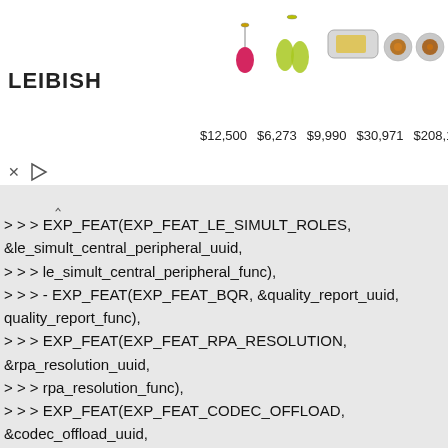[Figure (other): Advertisement banner for LEIBISH jewelry showing multiple jewelry pieces with prices: $12,500, $6,273, $9,990, $30,971, $208,171]
>>> EXP_FEAT(EXP_FEAT_LE_SIMULT_ROLES,
&le_simult_central_peripheral_uuid,
>>> le_simult_central_peripheral_func),
>>> - EXP_FEAT(EXP_FEAT_BQR, &quality_report_uuid,
quality_report_func),
>>> EXP_FEAT(EXP_FEAT_RPA_RESOLUTION,
&rpa_resolution_uuid,
>>> rpa_resolution_func),
>>> EXP_FEAT(EXP_FEAT_CODEC_OFFLOAD,
&codec_offload_uuid,
>>> diff --git a/src/adapter.h b/src/adapter.h
>>> index 688ed51c6..3d53a962d 100644
>>> --- a/src/adapter.h
>>> +++ b/src/adapter.h
>>> @@ -257,7 +257,6 @@ bool